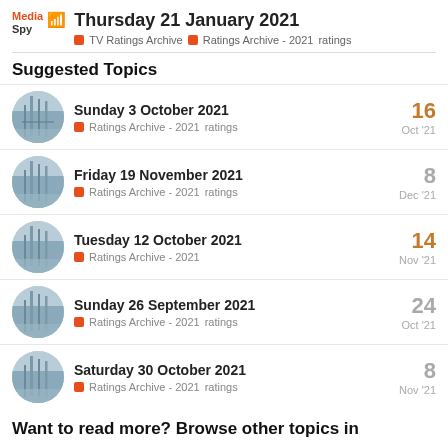Thursday 21 January 2021 | TV Ratings Archive > Ratings Archive - 2021 ratings
Suggested Topics
Sunday 3 October 2021 | Ratings Archive - 2021 ratings | 16 | Oct '21
Friday 19 November 2021 | Ratings Archive - 2021 ratings | 8 | Dec '21
Tuesday 12 October 2021 | Ratings Archive - 2021 | 14 | Nov '21
Sunday 26 September 2021 | Ratings Archive - 2021 ratings | 24 | Oct '21
Saturday 30 October 2021 | Ratings Archive - 2021 ratings | 8 | Nov '21
Want to read more? Browse other topics in